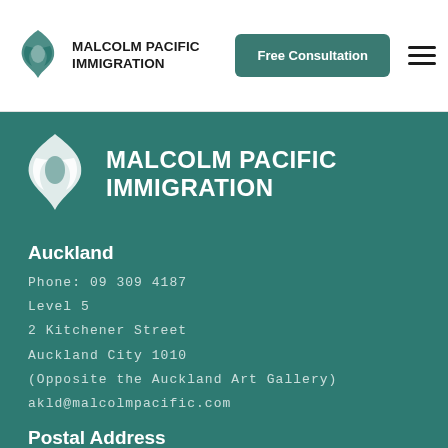[Figure (logo): Malcolm Pacific Immigration logo in header - teal flame/bird graphic with bold text]
Free Consultation
[Figure (logo): Malcolm Pacific Immigration large logo on teal background - white flame/bird graphic with white bold text]
Auckland
Phone: 09 309 4187
Level 5
2 Kitchener Street
Auckland City 1010
(Opposite the Auckland Art Gallery)
akld@malcolmpacific.com
Postal Address